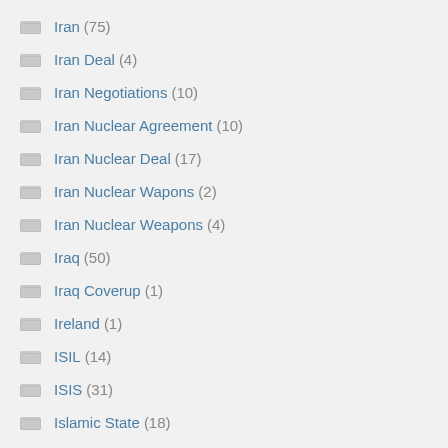Iran (75)
Iran Deal (4)
Iran Negotiations (10)
Iran Nuclear Agreement (10)
Iran Nuclear Deal (17)
Iran Nuclear Wapons (2)
Iran Nuclear Weapons (4)
Iraq (50)
Iraq Coverup (1)
Ireland (1)
ISIL (14)
ISIS (31)
Islamic State (18)
Israel (49)